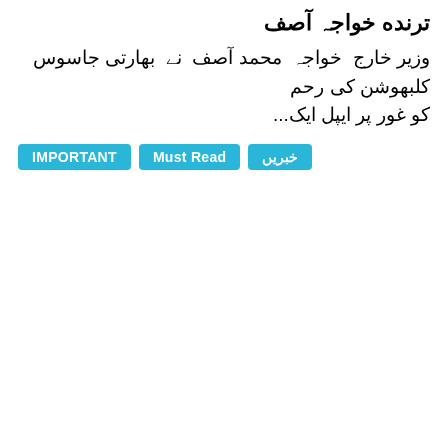ترنده خواجہ آصف
وزیر خارج خواجہ محمد آصف نے بھارتی جاسوس کلبھوشن کی رحم کو غور پر ایپل ایک ...
IMPORTANT
Must Read
خبریں